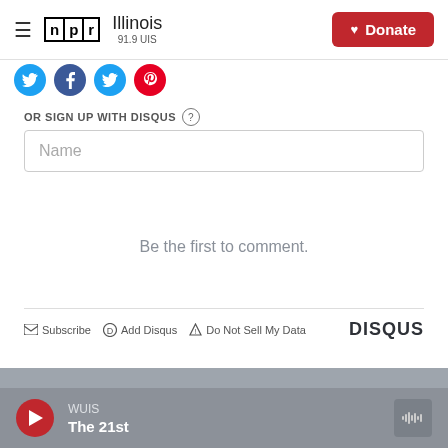NPR Illinois 91.9 UIS | Donate
[Figure (other): Social media icon buttons: Twitter (blue), Facebook (blue), Twitter/another blue icon, and Pinterest (red)]
OR SIGN UP WITH DISQUS ?
Name
Be the first to comment.
Subscribe | Add Disqus | Do Not Sell My Data | DISQUS
[Figure (other): Audio player bar with WUIS station, The 21st show, play button and audio wave icon]